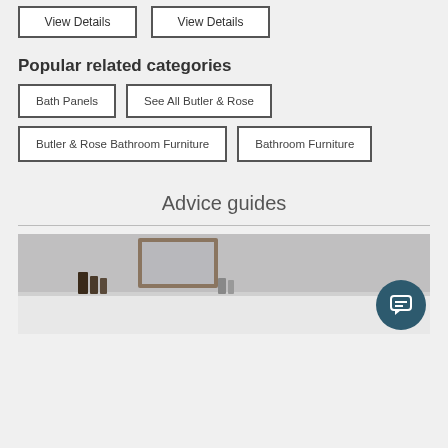View Details
View Details
Popular related categories
Bath Panels
See All Butler & Rose
Butler & Rose Bathroom Furniture
Bathroom Furniture
Advice guides
[Figure (photo): Bathroom interior with mirror, shelving unit, and toiletry items on a shelf against a grey/white tiled wall]